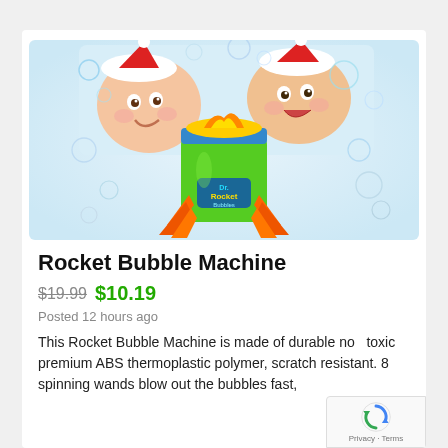[Figure (photo): Product photo of Rocket Bubble Machine — a green rocket-shaped bubble machine with orange legs/fins and an orange/yellow flame element on top, with two children wearing Santa hats playing in the background surrounded by colorful bubbles.]
Rocket Bubble Machine
$19.99 $10.19
Posted 12 hours ago
This Rocket Bubble Machine is made of durable non toxic premium ABS thermoplastic polymer, scratch resistant. 8 spinning wands blow out the bubbles fast,